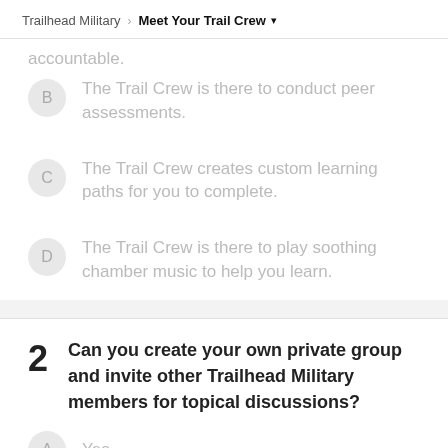Trailhead Military > Meet Your Trail Crew
accountable.
B — The Trail Crew is there to conduct peer assessments.
C — The Trail Crew creates custom learning paths for you to complete.
D — The Trail Crew is there to play soothing chamber music to help you learn.
2 Can you create your own private group and invite other Trailhead Military members for topical discussions?
A — Yes